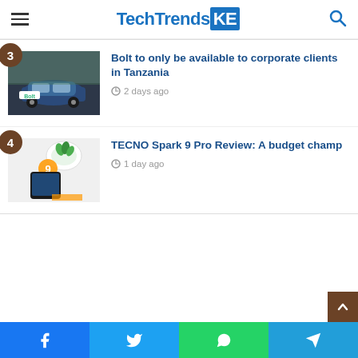TechTrendsKE
3 — Bolt to only be available to corporate clients in Tanzania — 2 days ago
4 — TECNO Spark 9 Pro Review: A budget champ — 1 day ago